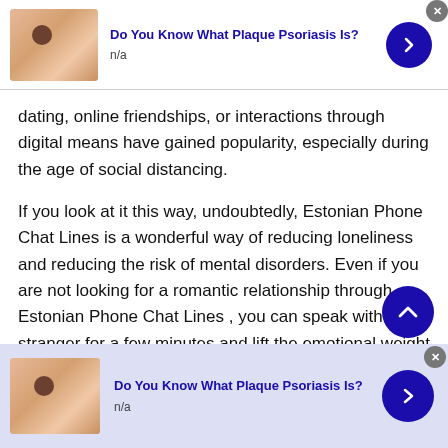[Figure (infographic): Top ad banner: thumbnail image of a hand/skin with a dark spot, title 'Do You Know What Plaque Psoriasis Is?', subtitle 'n/a', blue arrow button, close button]
dating, online friendships, or interactions through digital means have gained popularity, especially during the age of social distancing.
If you look at it this way, undoubtedly, Estonian Phone Chat Lines is a wonderful way of reducing loneliness and reducing the risk of mental disorders. Even if you are not looking for a romantic relationship through Estonian Phone Chat Lines , you can speak with a stranger for a few minutes and lift the emotional weight off of your chest.
[Figure (infographic): Bottom ad banner with light purple background: thumbnail image of hand/skin with dark spot, title 'Do You Know What Plaque Psoriasis Is?', subtitle 'n/a', blue arrow button, close button]